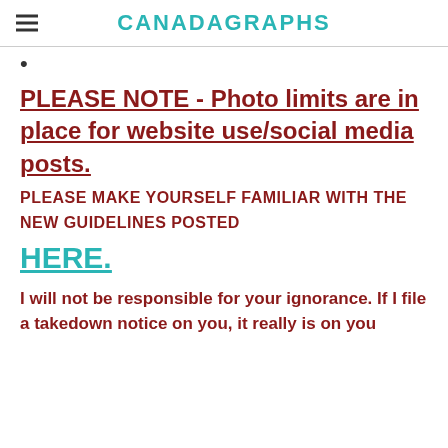CANADAGRAPHS
•
PLEASE NOTE - Photo limits are in place for website use/social media posts.
PLEASE MAKE YOURSELF FAMILIAR WITH THE NEW GUIDELINES POSTED
HERE.
I will not be responsible for your ignorance. If I file a takedown notice on you, it really is on you